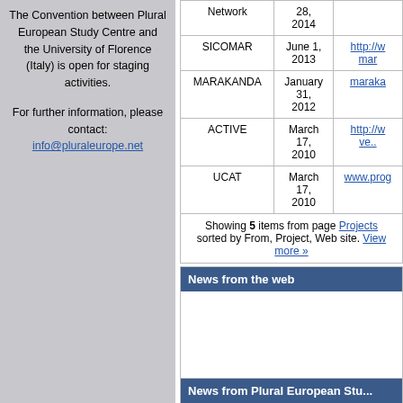The Convention between Plural European Study Centre and the University of Florence (Italy) is open for staging activities.
For further information, please contact: info@pluraleurope.net
| Project | From | Web site |
| --- | --- | --- |
| Network | 28, 2014 |  |
| SICOMAR | June 1, 2013 | http://w...mar |
| MARAKANDA | January 31, 2012 | maraka... |
| ACTIVE | March 17, 2010 | http://w...ve.... |
| UCAT | March 17, 2010 | www.prog... |
Showing 5 items from page Projects sorted by From, Project, Web site. View more »
News from the web
News from Plural European Stu...